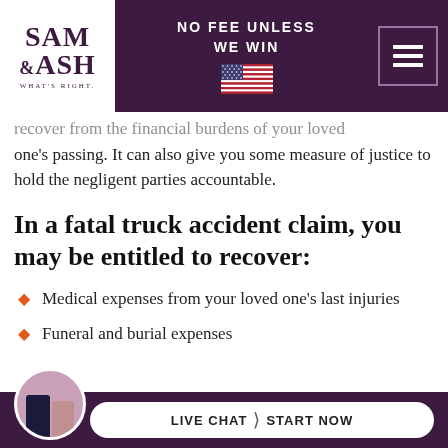SAM & ASH WHAT'S RIGHT. | NO FEE UNLESS WE WIN
recover from the financial burdens of your loved one's passing. It can also give you some measure of justice to hold the negligent parties accountable.
In a fatal truck accident claim, you may be entitled to recover:
Medical expenses from your loved one's last injuries
Funeral and burial expenses
LIVE CHAT | START NOW